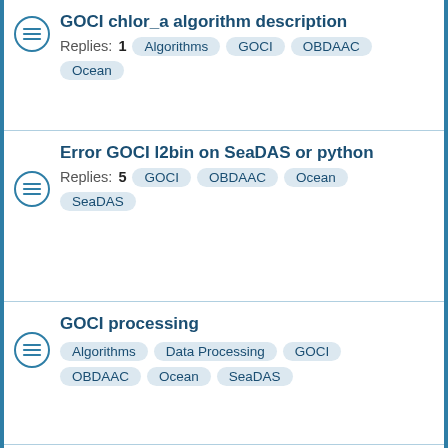GOCI chlor_a algorithm description
Replies: 1
Tags: Algorithms, GOCI, OBDAAC, Ocean
Error GOCI l2bin on SeaDAS or python
Replies: 5
Tags: GOCI, OBDAAC, Ocean, SeaDAS
GOCI processing
Tags: Algorithms, Data Processing, GOCI, OBDAAC, Ocean, SeaDAS
Level2 Products about Rrs
Replies: 6
Tags: Algorithms, GOCI, OBDAAC